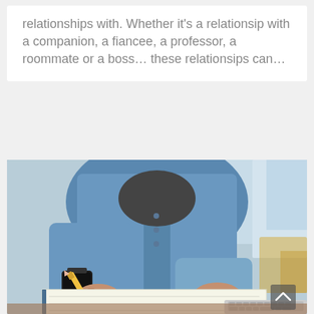relationships with. Whether it's a relationsip with a companion, a fiancee, a professor, a roommate or a boss... these relationsips can...
[Figure (photo): A person wearing a denim shirt and a smartwatch, holding a pencil and writing in a notebook. A laptop keyboard is visible in the bottom right corner. The background is blurred with soft blue tones suggesting an office or study environment.]